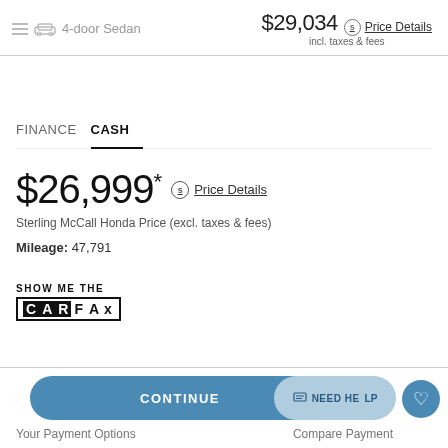4-door Sedan   $29,034 incl. taxes & fees   Price Details
FINANCE   CASH
$26,999*
Price Details
Sterling McCall Honda Price (excl. taxes & fees)
Mileage: 47,791
[Figure (logo): SHOW ME THE CARFAX logo]
CONTINUE
NEED HELP
Your Payment Options
Compare Payment